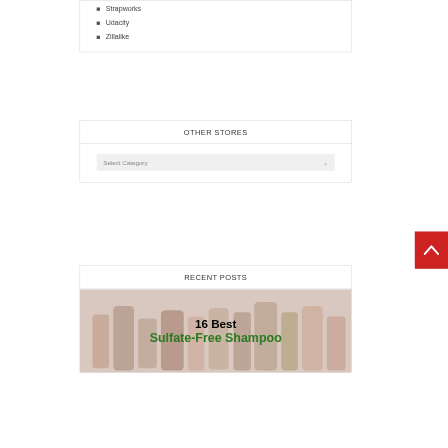Strapworks
Udacity
Zillalike
OTHER STORES
[Figure (screenshot): Dropdown select box with placeholder text 'Select Category' and a chevron down arrow, on a light gray background]
RECENT POSTS
[Figure (photo): Collection of shampoo bottles with overlay text '16 Best Sulfate-Free Shampoo']